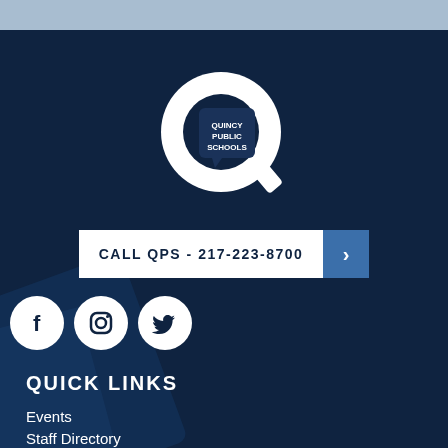[Figure (logo): Quincy Public Schools logo: a large white Q shape with a dark speech-bubble-style square inside containing the text QUINCY PUBLIC SCHOOLS]
CALL QPS - 217-223-8700
[Figure (infographic): Social media icons: Facebook, Instagram, Twitter in white circles on dark background]
QUICK LINKS
Events
Staff Directory